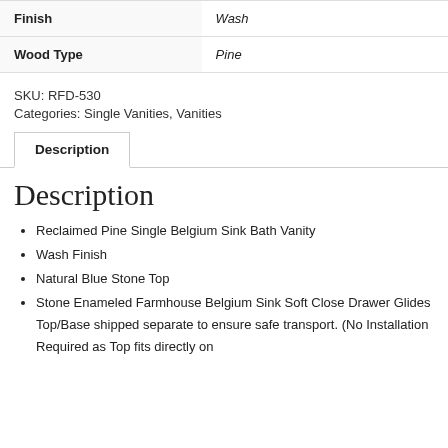| Finish | Wash |
| Wood Type | Pine |
SKU: RFD-530
Categories: Single Vanities, Vanities
Description
Description
Reclaimed Pine Single Belgium Sink Bath Vanity
Wash Finish
Natural Blue Stone Top
Stone Enameled Farmhouse Belgium Sink Soft Close Drawer Glides Top/Base shipped separate to ensure safe transport. (No Installation Required as Top fits directly on